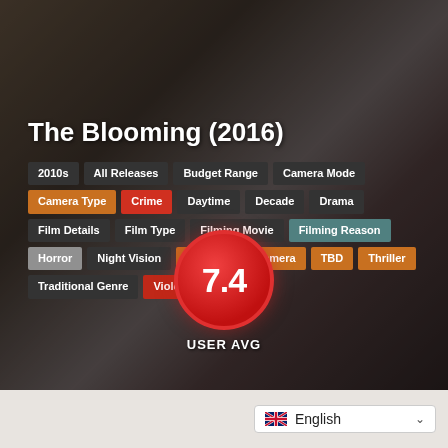[Figure (photo): Dark cinematic background image showing a person on a floor in low lighting, used as hero/banner image for the film 'The Blooming (2016)']
The Blooming (2016)
2010s
All Releases
Budget Range
Camera Mode
Camera Type
Crime
Daytime
Decade
Drama
Film Details
Film Type
Filming Movie
Filming Reason
Horror
Night Vision
Professional Camera
TBD
Thriller
Traditional Genre
Violent Crimes
7.4
USER AVG
English